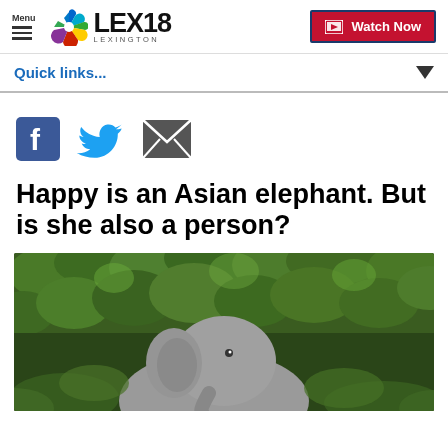Menu | LEX18 LEXINGTON | Watch Now
Quick links...
[Figure (other): Social share icons: Facebook, Twitter, Email]
Happy is an Asian elephant. But is she also a person?
[Figure (photo): An Asian elephant standing in lush green jungle/forest vegetation]